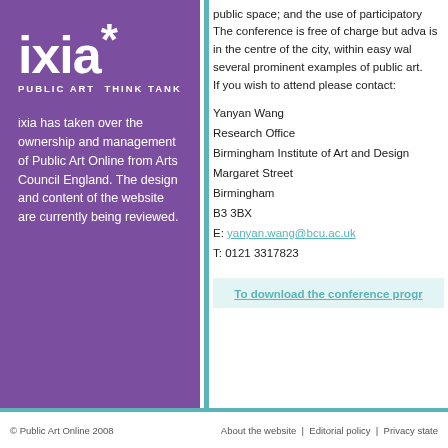[Figure (logo): ixia* PUBLIC ART THINK TANK logo, white text on purple background]
ixia has taken over the ownership and management of Public Art Online from Arts Council England. The design and content of the website are currently being reviewed.
public space; and the use of participatory
The conference is free of charge but adva is in the centre of the city, within easy wal several prominent examples of public art.
If you wish to attend please contact:
Yanyan Wang
Research Office
Birmingham Institute of Art and Design
Margaret Street
Birmingham
B3 3BX
E: yanyan.wang@bcu.ac.uk
T: 0121 3317823
To download the conference progr
© Public Art Online 2008    About the website | Editorial policy | Privacy state